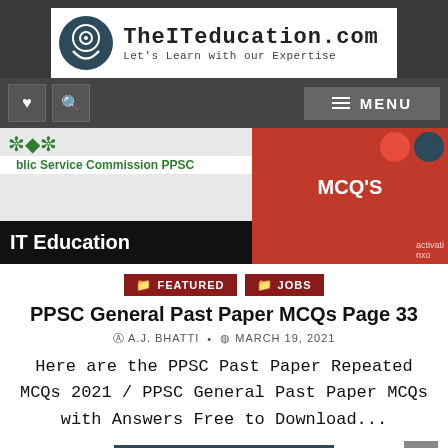[Figure (logo): TheITeducation.com logo with text 'Let's Learn with our Expertise']
[Figure (screenshot): Navigation bar with heart icon, search icon, and MENU button]
[Figure (illustration): Banner showing 'Public Service Commission PPSC', 'IT Education', and 'PPSC Past Paper MCQ'S' on red background]
FEATURED   JOBS
PPSC General Past Paper MCQs Page 33
A.J. BHATTI  •  MARCH 19, 2021
Here are the PPSC Past Paper Repeated MCQs 2021 / PPSC General Past Paper MCQs with Answers Free to Download...
CONTINUE READING ▶